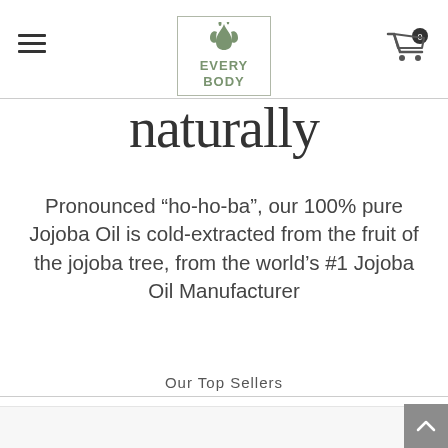Every Body — navigation header with logo, hamburger menu, and cart icon
naturally
Pronounced “ho-ho-ba”, our 100% pure Jojoba Oil is cold-extracted from the fruit of the jojoba tree, from the world’s #1 Jojoba Oil Manufacturer
Our Top Sellers